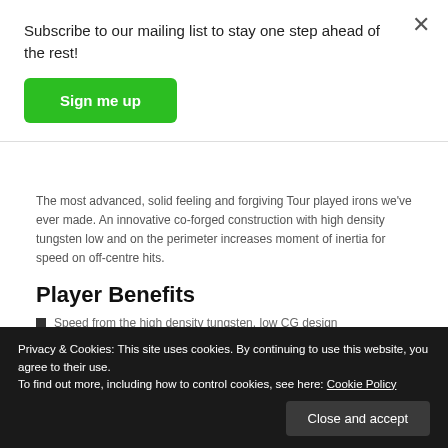Subscribe to our mailing list to stay one step ahead of the rest!
Sign me up
The most advanced, solid feeling and forgiving Tour played irons we've ever made. An innovative co-forged construction with high density tungsten low and on the perimeter increases moment of inertia for speed on off-centre hits.
Player Benefits
Speed from the high density tungsten, low CG design
Privacy & Cookies: This site uses cookies. By continuing to use this website, you agree to their use.
To find out more, including how to control cookies, see here: Cookie Policy
Close and accept